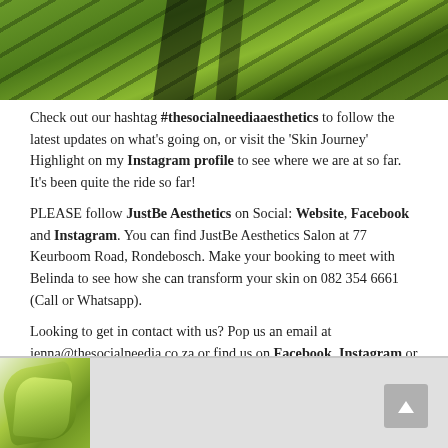[Figure (photo): Close-up photo of green plant leaves with dark streaks, used as decorative header image]
Check out our hashtag #thesocialneediaaesthetics to follow the latest updates on what's going on, or visit the 'Skin Journey' Highlight on my Instagram profile to see where we are at so far. It's been quite the ride so far!
PLEASE follow JustBe Aesthetics on Social: Website, Facebook and Instagram. You can find JustBe Aesthetics Salon at 77 Keurboom Road, Rondebosch. Make your booking to meet with Belinda to see how she can transform your skin on 082 354 6661 (Call or Whatsapp).
Looking to get in contact with us? Pop us an email at jenna@thesocialneedia.co.za or find us on Facebook, Instagram or Twitter.
[Figure (photo): Small thumbnail of green plant leaves at bottom left of page]